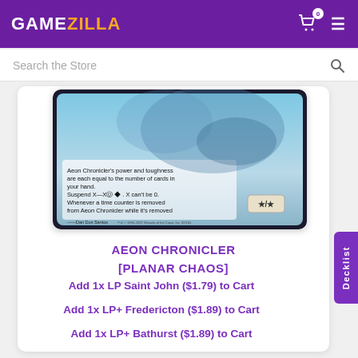GAMEZILLA
Search the Store
[Figure (illustration): Magic: The Gathering card - Aeon Chronicler from Planar Chaos. Card text: Aeon Chronicler's power and toughness are each equal to the number of cards in your hand. Suspend X—X(cost)(cost). X can't be 0. Whenever a time counter is removed from Aeon Chronicler while it's removed from the game, draw a card. Art by Dan Dos Santos. */★]
AEON CHRONICLER
[PLANAR CHAOS]
Add 1x LP Saint John ($1.79) to Cart
Add 1x LP+ Fredericton ($1.89) to Cart
Add 1x LP+ Bathurst ($1.89) to Cart